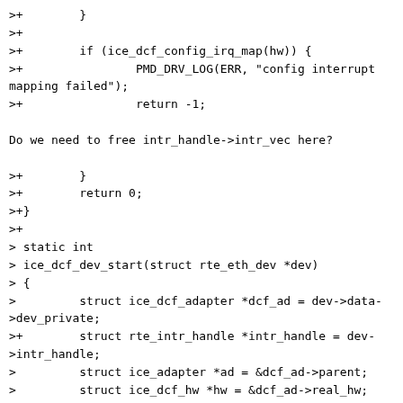>+        }
>+
>+        if (ice_dcf_config_irq_map(hw)) {
>+                PMD_DRV_LOG(ERR, "config interrupt mapping failed");
>+                return -1;

Do we need to free intr_handle->intr_vec here?

>+        }
>+        return 0;
>+}
>+
> static int
> ice_dcf_dev_start(struct rte_eth_dev *dev)
> {
>         struct ice_dcf_adapter *dcf_ad = dev->data->dev_private;
>+        struct rte_intr_handle *intr_handle = dev->intr_handle;
>         struct ice_adapter *ad = &dcf_ad->parent;
>         struct ice_dcf_hw *hw = &dcf_ad->real_hw;
>         int ret;
>@@ -141,6 +254,18 @@ ice_dcf_dev_start(struct rte_eth_dev *dev)
>                 }
>         }
>
>+        ret = ice_dcf_configure_queues(hw);
>+        if (ret) {